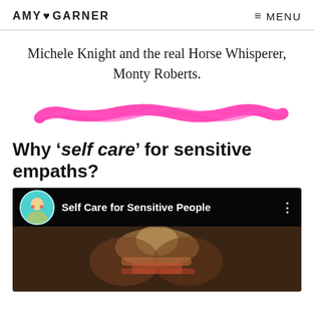AMY ♥ GARNER   ≡ MENU
Michele Knight and the real Horse Whisperer, Monty Roberts.
[Figure (illustration): Hot pink horizontal brush stroke decorative divider]
Why 'self care' for sensitive empaths?
[Figure (screenshot): Video thumbnail: Self Care for Sensitive People with avatar and dark overlay showing a woman with red glasses and curly hair]